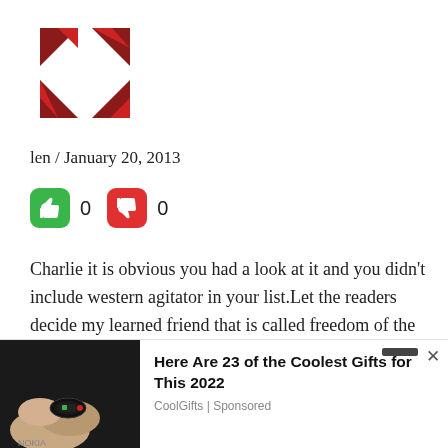[Figure (logo): Red/dark red geometric logo with arrow-like triangular shapes arranged in a 2x2 grid pattern]
len / January 20, 2013
[Figure (infographic): Green thumbs-up button showing 0 votes and red thumbs-down button showing 0 votes]
Charlie it is obvious you had a look at it and you didn't include western agitator in your list.Let the readers decide my learned friend that is called freedom of the press. If its hard for you to take in the truth why not read the Daily News( I called Daily Good News)that will be down you alley.
[Figure (photo): Advertisement showing a Nokia phone/ring device being held, with text 'Here Are 23 of the Coolest Gifts for This 2022' from CoolGifts | Sponsored]